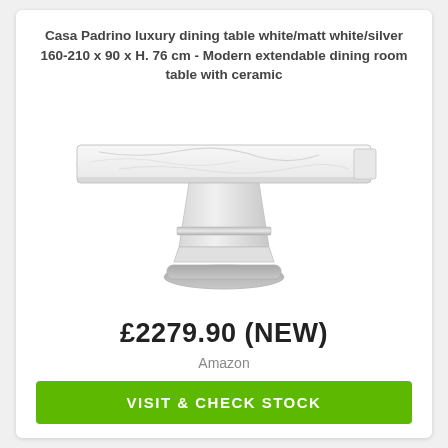Casa Padrino luxury dining table white/matt white/silver 160-210 x 90 x H. 76 cm - Modern extendable dining room table with ceramic
[Figure (photo): A modern white extendable dining table with a ceramic marble-effect top, white gloss pedestal base, and silver metallic accent band and feet.]
£2279.90 (NEW)
Amazon
VISIT & CHECK STOCK